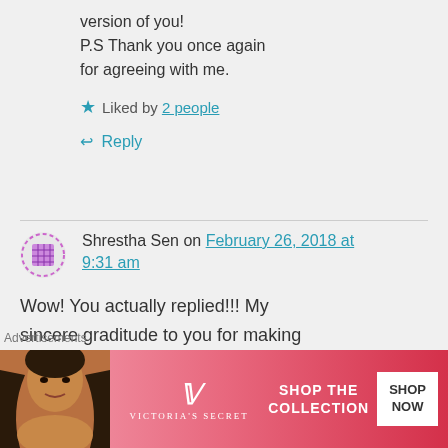version of you!
P.S Thank you once again for agreeing with me.
★ Liked by 2 people
↩ Reply
Shrestha Sen on February 26, 2018 at 9:31 am
Wow! You actually replied!!! My sincere graditude to you for making the time to write back. 😁 The
Advertisements
[Figure (photo): Victoria's Secret advertisement banner with a woman model, VS logo, 'SHOP THE COLLECTION' text, and 'SHOP NOW' button]